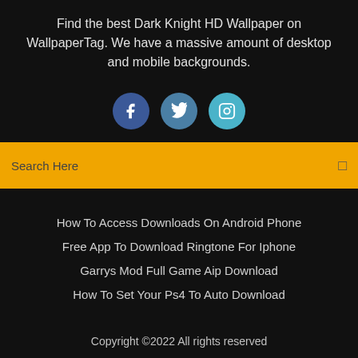Find the best Dark Knight HD Wallpaper on WallpaperTag. We have a massive amount of desktop and mobile backgrounds.
[Figure (illustration): Three social media icon buttons: Facebook (dark blue circle with 'f'), Twitter (medium blue circle with bird), Instagram (light blue circle with camera icon)]
Search Here
How To Access Downloads On Android Phone
Free App To Download Ringtone For Iphone
Garrys Mod Full Game Aip Download
How To Set Your Ps4 To Auto Download
Copyright ©2022 All rights reserved